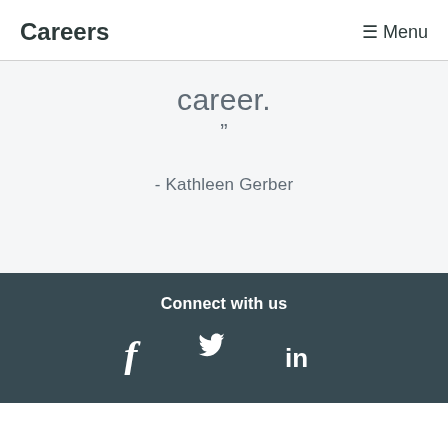Careers
≡ Menu
career.
”
- Kathleen Gerber
Connect with us
[Figure (infographic): Social media icons: Facebook (f), Twitter (bird), LinkedIn (in)]